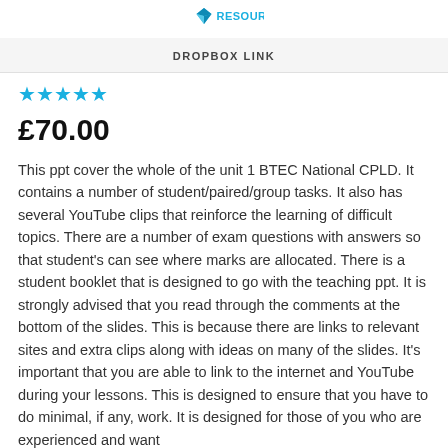[Figure (logo): Colorful geometric logo with text RESOURCES in cyan/blue]
DROPBOX LINK
[Figure (other): Five cyan star rating icons]
£70.00
This ppt cover the whole of the unit 1 BTEC National CPLD. It contains a number of student/paired/group tasks. It also has several YouTube clips that reinforce the learning of difficult topics. There are a number of exam questions with answers so that student's can see where marks are allocated. There is a student booklet that is designed to go with the teaching ppt. It is strongly advised that you read through the comments at the bottom of the slides. This is because there are links to relevant sites and extra clips along with ideas on many of the slides. It's important that you are able to link to the internet and YouTube during your lessons. This is designed to ensure that you have to do minimal, if any, work. It is designed for those of you who are experienced and want